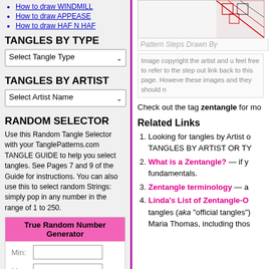How to draw WINDMILL
How to draw APPEASE
How to draw HAF N HAF
TANGLES BY TYPE
Select Tangle Type
TANGLES BY ARTIST
Select Artist Name
RANDOM SELECTOR
Use this Random Tangle Selector with your TanglePatterns.com TANGLE GUIDE to help you select tangles. See Pages 7 and 9 of the Guide for instructions. You can also use this to select random Strings: simply pop in any number in the range of 1 to 250.
True Random Number Generator
Min: [input] Max: [input] Generate Result:
[Figure (illustration): Partial view of a zentangle pattern drawing in red and black ink, top right corner]
Pattern Steps Drawn By
Image copyright the artist and u feel free to refer to the step out link back to this page. However these images and they should n
Check out the tag zentangle for mo
Related Links
Looking for tangles by Artist o TANGLES BY ARTIST OR TY
What is a Zentangle? — if y fundamentals.
Zentangle terminology — a
Linda's List of Zentangle-O tangles (aka "official tangles") Maria Thomas, including thos